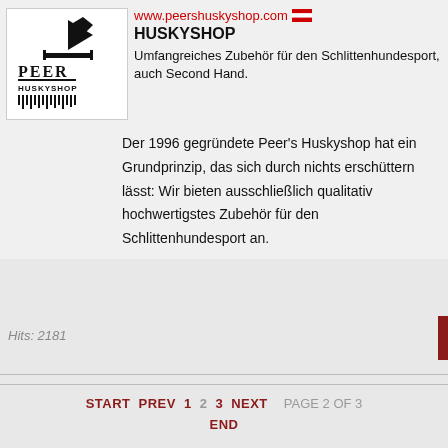[Figure (logo): Peer Huskyshop logo — black silhouette of a person with sled dogs, text PEER HUSKYSHOP below]
www.peershuskyshop.com
HUSKYSHOP
Umfangreiches Zubehör für den Schlittenhundesport, auch Second Hand.
Der 1996 gegründete Peer's Huskyshop hat ein Grundprinzip, das sich durch nichts erschüttern lässt: Wir bieten ausschließlich qualitativ hochwertigstes Zubehör für den Schlittenhundesport an.
Hits: 2181
START  PREV  1  2  3  NEXT  PAGE 2 OF 3  END